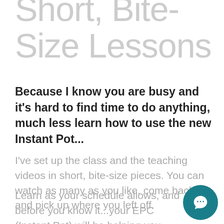Short, Bite-Size Lessons
Because I know you are busy and it's hard to find time to do anything, much less learn how to use the new Instant Pot...
I've set up the class and the teaching videos in short, bite-size pieces. You can watch as many as you like, come back and pick up where you left off.
Learn as your schedule allows, and before you know it...your EPC (Instant Pot) will be helping you save a ton of time on dinner prep!